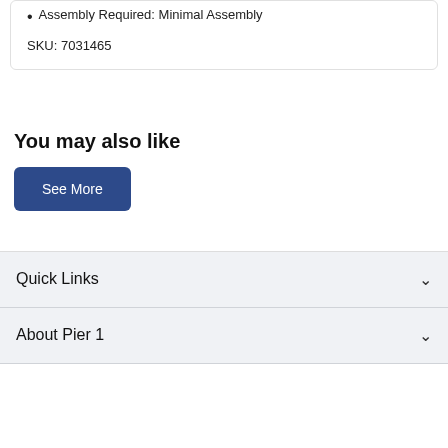Assembly Required: Minimal Assembly
SKU: 7031465
You may also like
See More
Quick Links
About Pier 1